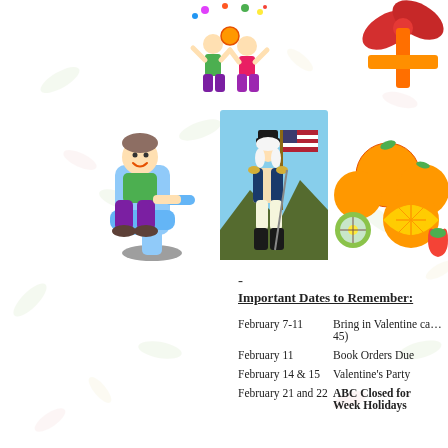[Figure (illustration): Children celebrating with confetti and balloons at top center]
[Figure (illustration): Red gift box with bow at top right corner]
[Figure (illustration): Cartoon child sitting in dentist chair on left side]
[Figure (illustration): George Washington standing with American flag in center]
[Figure (photo): Fruits including oranges, kiwi, and strawberries on right side]
-
Important Dates to Remember:
February 7-11        Bring in Valentine ca... 45)
February 11          Book Orders Due
February 14 & 15     Valentine's Party
February 21 and 22   ABC Closed for Week Holidays